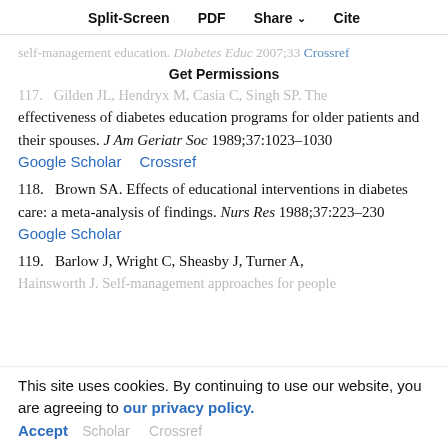Split-Screen  PDF  Share  Cite
Get Permissions
117.  Gilden JL, Hendryx M, Casia C, Singh SP. The effectiveness of diabetes education programs for older patients and their spouses. J Am Geriatr Soc 1989;37:1023–1030
118.  Brown SA. Effects of educational interventions in diabetes care: a meta-analysis of findings. Nurs Res 1988;37:223–230
119.  Barlow J, Wright C, Sheasby J, Turner A, Hainsworth J. Self-management approaches for people...
This site uses cookies. By continuing to use our website, you are agreeing to our privacy policy. Accept